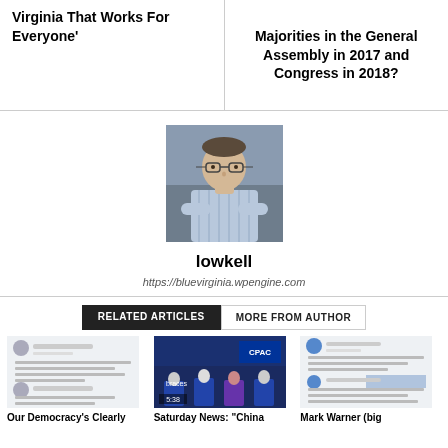Virginia That Works For Everyone'
Majorities in the General Assembly in 2017 and Congress in 2018?
[Figure (photo): Headshot of author lowkell, a man with glasses wearing a light blue striped shirt, arms crossed, standing in front of a stone wall.]
lowkell
https://bluevirginia.wpengine.com
RELATED ARTICLES
MORE FROM AUTHOR
[Figure (screenshot): Screenshot of tweets from Atif ur Heck about democracy and ideas outside the box.]
Our Democracy's Clearly
[Figure (screenshot): Screenshot of CPAC panel event with speakers on stage, timestamp 5:38, blue background with CPAC logo.]
Saturday News: "China
[Figure (screenshot): Screenshot of Mark Warner tweets about election reform bill.]
Mark Warner (big